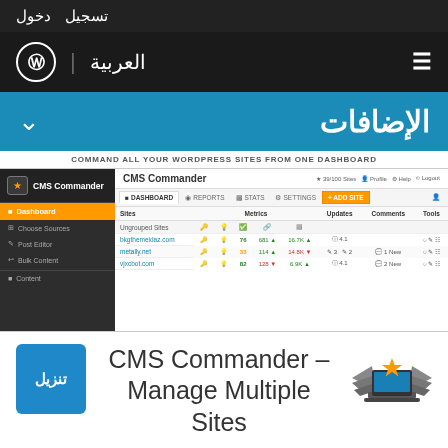تسجيل  دخول
العربية | WordPress (WP logo)
الإضافات
COMMAND ALL YOUR WORDPRESS SITES FROM ONE DASHBOARD
[Figure (screenshot): CMS Commander dashboard screenshot showing sidebar navigation with Dashboard, Choose Sources, Post Editor, Bulk Content, Content items; main area with tabs: DASHBOARD, REPORTS, STATS, SETTINGS, +ADD SITE; table showing Sites (Ungrouped Sites, bkgthemeidaz.com, metally.net, vjxcbot.com), Metrics, Updates, Comments, Tools columns with data]
تنزيل
CMS Commander – Manage Multiple Sites